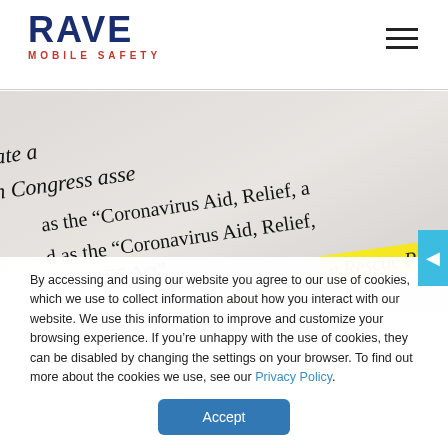RAVE MOBILE SAFETY
[Figure (photo): Close-up photograph of a printed document showing text including 'Coronavirus Aid, Relief,' and 'the "CARES Act".' with a highlighted section reading 'n Rescue Plan']
By accessing and using our website you agree to our use of cookies, which we use to collect information about how you interact with our website. We use this information to improve and customize your browsing experience. If you're unhappy with the use of cookies, they can be disabled by changing the settings on your browser. To find out more about the cookies we use, see our Privacy Policy.
Accept